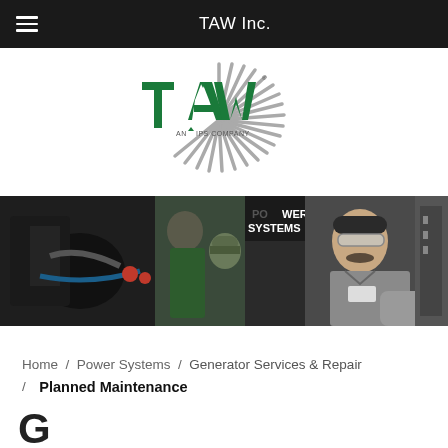TAW Inc.
[Figure (logo): TAW Inc. logo - green TAW text with radiating lines, subtitle 'AN IPS COMPANY']
[Figure (photo): Workers in an industrial/power systems facility working on machinery, one in green shirt, one in camo cap, one in gray uniform with safety glasses]
Home / Power Systems / Generator Services & Repair / Planned Maintenance
G…